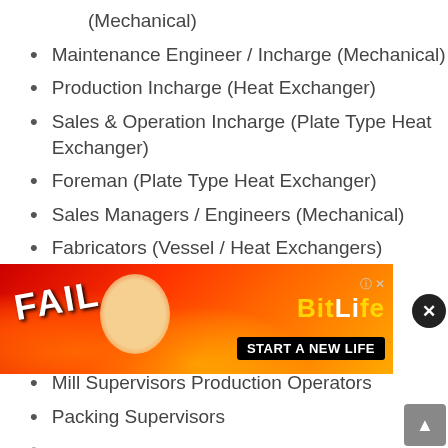(Mechanical)
Maintenance Engineer / Incharge (Mechanical)
Production Incharge (Heat Exchanger)
Sales & Operation Incharge (Plate Type Heat Exchanger)
Foreman (Plate Type Heat Exchanger)
Sales Managers / Engineers (Mechanical)
Fabricators (Vessel / Heat Exchangers)
Heat Exchanger Technicians
HVAC Technicians (Chiller Plant)
Required For Feedmill Factory
Mill Supervisors Production Operators
Packing Supervisors
(partially hidden)
Pallet mill Operators
[Figure (screenshot): Advertisement banner for BitLife game — 'FAIL' text with cartoon character, flames background, 'START A NEW LIFE' button on black background]
Boiler...